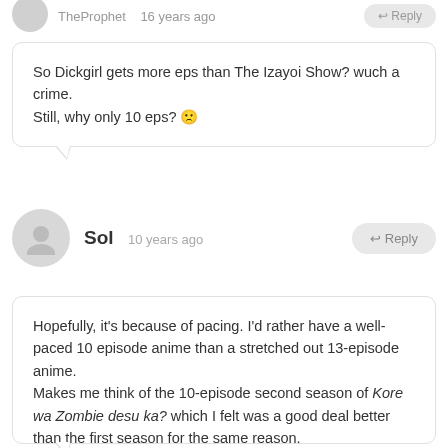TheProphet  16 years ago  ↩ Reply
So Dickgirl gets more eps than The Izayoi Show? wuch a crime.
Still, why only 10 eps? 🙁
Sol  10 years ago  ↩ Reply
Hopefully, it's because of pacing. I'd rather have a well-paced 10 episode anime than a stretched out 13-episode anime.

Makes me think of the 10-episode second season of Kore wa Zombie desu ka? which I felt was a good deal better than the first season for the same reason.